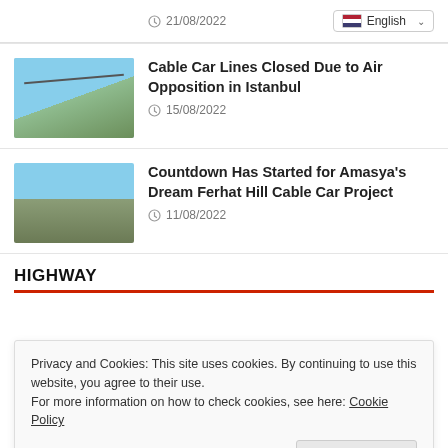21/08/2022
English
[Figure (photo): Cable car gondola against sky with city below]
Cable Car Lines Closed Due to Air Opposition in Istanbul
15/08/2022
[Figure (photo): Aerial view of hillside city, Amasya]
Countdown Has Started for Amasya's Dream Ferhat Hill Cable Car Project
11/08/2022
HIGHWAY
Privacy and Cookies: This site uses cookies. By continuing to use this website, you agree to their use.
For more information on how to check cookies, see here: Cookie Policy
OK
[Figure (photo): Partial thumbnail of road/highway image]
Development With The New D5 4...